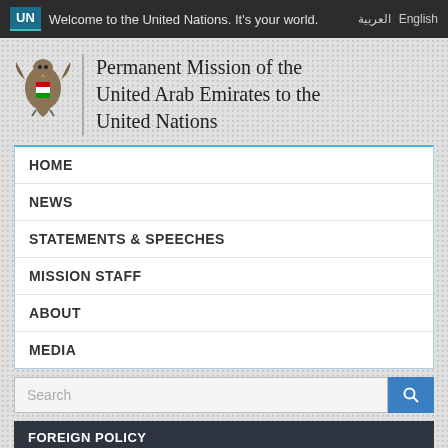UN Welcome to the United Nations. It's your world. English العربية
Permanent Mission of the United Arab Emirates to the United Nations
HOME
NEWS
STATEMENTS & SPEECHES
MISSION STAFF
ABOUT
MEDIA
FOREIGN POLICY